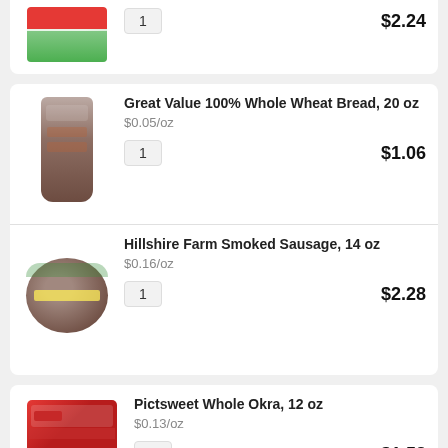[Figure (other): Product image - partially visible item at top]
1
$2.24
Great Value 100% Whole Wheat Bread, 20 oz
$0.05/oz
1
$1.06
Hillshire Farm Smoked Sausage, 14 oz
$0.16/oz
1
$2.28
Pictsweet Whole Okra, 12 oz
$0.13/oz
1
$1.58
Great Value Fat Free Half & Half, 1 qt